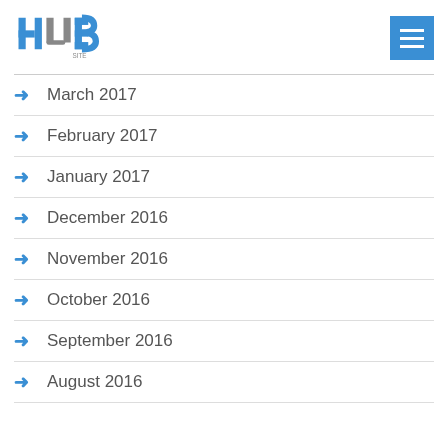HuB SITE
March 2017
February 2017
January 2017
December 2016
November 2016
October 2016
September 2016
August 2016